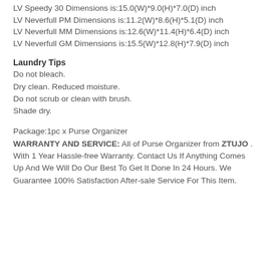LV Speedy 30 Dimensions is:15.0(W)*9.0(H)*7.0(D) inch
LV Neverfull PM Dimensions is:11.2(W)*8.6(H)*5.1(D) inch
LV Neverfull MM Dimensions is:12.6(W)*11.4(H)*6.4(D) inch
LV Neverfull GM Dimensions is:15.5(W)*12.8(H)*7.9(D) inch
Laundry Tips
Do not bleach.
Dry clean. Reduced moisture.
Do not scrub or clean with brush.
Shade dry.
Package:1pc x Purse Organizer
WARRANTY AND SERVICE: All of Purse Organizer from ZTUJO . With 1 Year Hassle-free Warranty. Contact Us If Anything Comes Up And We Will Do Our Best To Get It Done In 24 Hours. We Guarantee 100% Satisfaction After-sale Service For This Item.